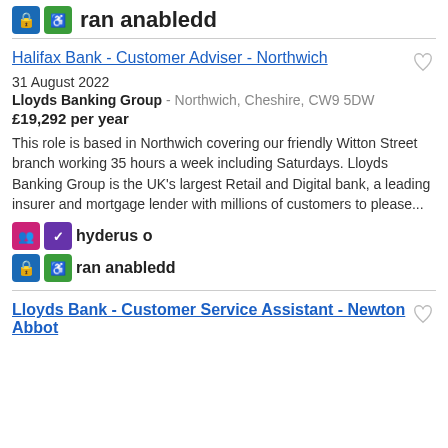[Figure (logo): Two icon badges (blue and green) followed by bold text 'ran anabledd']
Halifax Bank - Customer Adviser - Northwich
31 August 2022
Lloyds Banking Group - Northwich, Cheshire, CW9 5DW
£19,292 per year
This role is based in Northwich covering our friendly Witton Street branch working 35 hours a week including Saturdays. Lloyds Banking Group is the UK's largest Retail and Digital bank, a leading insurer and mortgage lender with millions of customers to please...
[Figure (logo): Four icon badges (pink, purple, blue, green) with text 'hyderus o ran anabledd']
Lloyds Bank - Customer Service Assistant - Newton Abbot